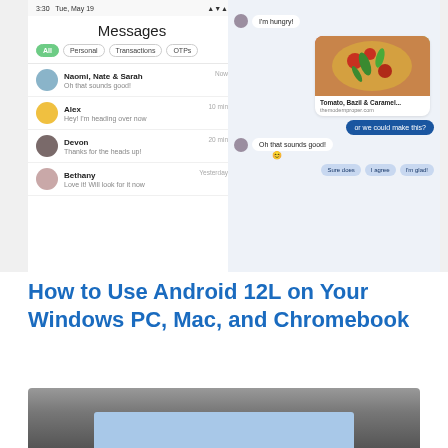[Figure (screenshot): Android Messages app screenshot showing a messages list on the left (with contacts Naomi Nate & Sarah, Alex, Devon, Bethany) and a chat conversation on the right with food-related messages, a pizza image card (Tomato, Basil & Caramel... from themodernproper.com), a blue button 'or we could make this?', reply bubbles 'Oh that sounds good!', and quick reply chips 'Sure does', 'I agree', 'I'm glad!']
How to Use Android 12L on Your Windows PC, Mac, and Chromebook
[Figure (screenshot): Partial screenshot of a laptop/computer screen from below, showing a blue screen on a dark laptop display against a gray background]